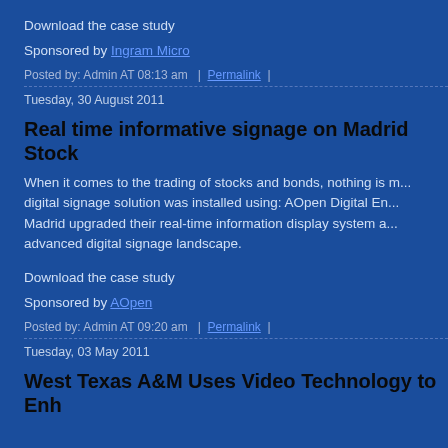Download the case study
Sponsored by Ingram Micro
Posted by: Admin AT 08:13 am  |  Permalink  |
Tuesday, 30 August 2011
Real time informative signage on Madrid Stock
When it comes to the trading of stocks and bonds, nothing is m... digital signage solution was installed using: AOpen Digital En... Madrid upgraded their real-time information display system a... advanced digital signage landscape.
Download the case study
Sponsored by AOpen
Posted by: Admin AT 09:20 am  |  Permalink  |
Tuesday, 03 May 2011
West Texas A&M Uses Video Technology to Enh